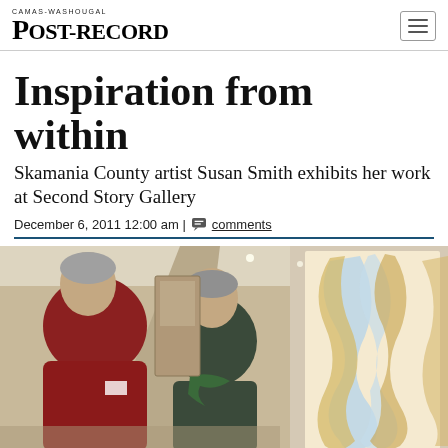CAMAS-WASHOUGAL POST-RECORD
Inspiration from within
Skamania County artist Susan Smith exhibits her work at Second Story Gallery
December 6, 2011 12:00 am | comments
[Figure (photo): Two women talking in an art gallery hallway; a large abstract painting with blue and gold flowing shapes is visible on the right wall.]